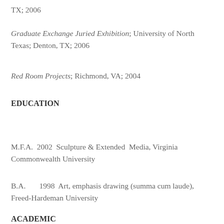TX; 2006
Graduate Exchange Juried Exhibition; University of North Texas; Denton, TX; 2006
Red Room Projects; Richmond, VA; 2004
EDUCATION
M.F.A.  2002  Sculpture & Extended  Media, Virginia Commonwealth University
B.A.      1998  Art, emphasis drawing (summa cum laude), Freed-Hardeman University
ACADEMIC